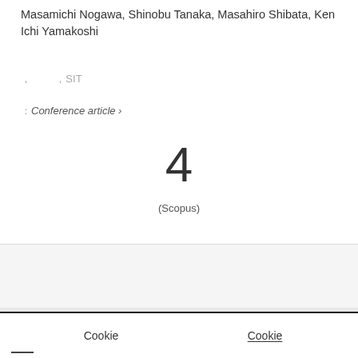Masamichi Nogawa, Shinobu Tanaka, Masahiro Shibata, Ken Ichi Yamakoshi
, , SIT
: Conference article ›
4
(Scopus)
[Figure (screenshot): Tab bar with book icon and spiral icon, with green underline under first tab]
Cookie  Cookie